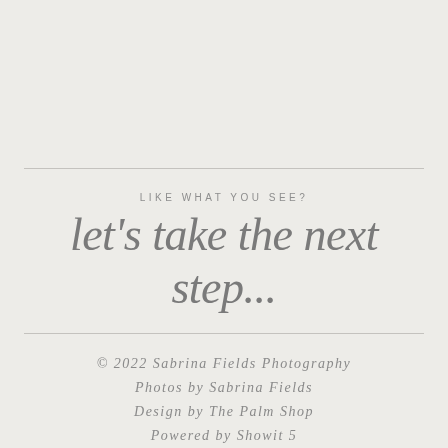LIKE WHAT YOU SEE?
let's take the next step...
© 2022 Sabrina Fields Photography
Photos by Sabrina Fields
Design by The Palm Shop
Powered by Showit 5